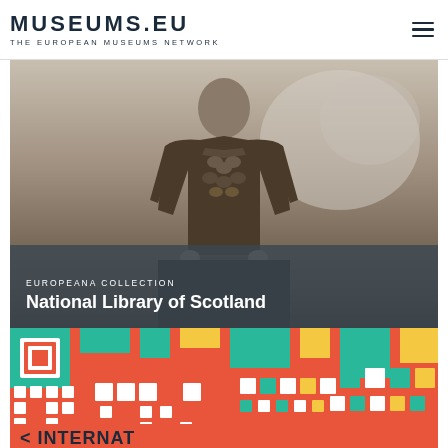MUSEUMS.EU THE EUROPEAN MUSEUMS NETWORK
[Figure (photo): Black and white photograph of a person in historical dress holding what appears to be a walking stick or sword, with a dark overlay banner at the bottom showing 'EUROPEANA COLLECTION' and 'National Library of Scotland']
EUROPEANA COLLECTION
National Library of Scotland
[Figure (other): Colorful QR code pattern in red, teal, orange and white colors, partially visible, with text '< INTERNAT' at the bottom in dark letters on red background]